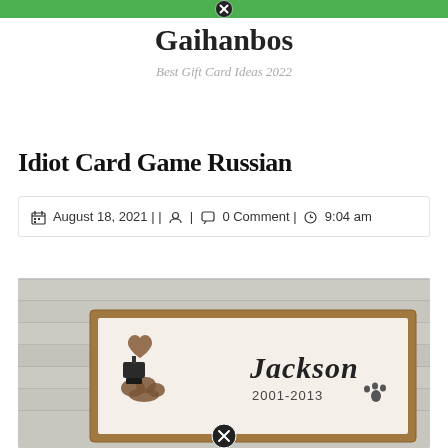Gaihanbos — Best Gift Card Ideas 2022 (site header bar with close icon)
Gaihanbos
Best Gift Card Ideas 2022
Idiot Card Game Russian
August 18, 2021 | | [user icon] | [comment icon] 0 Comment | [clock icon] 9:04 am
[Figure (photo): A wooden framed memorial sign on a white shiplap wood background. The sign reads 'Jackson 2001-2013' with a paw print icon, a heart shape, a cloud shape, and what appears to be a rubber stamp on the left side. A close/remove button (circled X) appears at the bottom center of the image.]